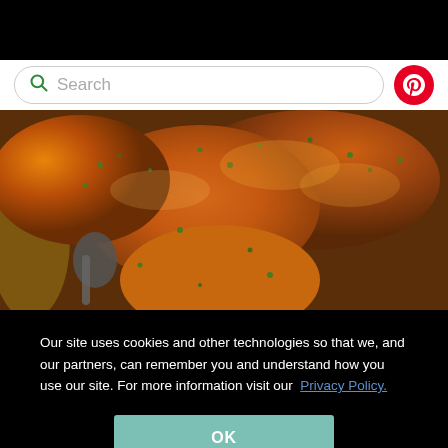[Figure (screenshot): Search bar with green magnifying glass icon and placeholder text 'Search', with a red Pinterest circular button on the right]
[Figure (photo): Close-up photo of roasted chicken pieces with herbs in a pan, golden-brown skin with green herb garnish]
Our site uses cookies and other technologies so that we, and our partners, can remember you and understand how you use our site. For more information visit our  Privacy Policy.
OK